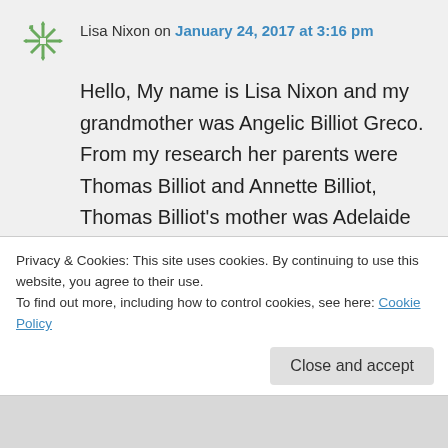Lisa Nixon on January 24, 2017 at 3:16 pm
Hello, My name is Lisa Nixon and my grandmother was Angelic Billiot Greco. From my research her parents were Thomas Billiot and Annette Billiot, Thomas Billiot's mother was Adelaide Billiot was married to Alexander Billiot. Alexander Billiot's mother was
Privacy & Cookies: This site uses cookies. By continuing to use this website, you agree to their use.
To find out more, including how to control cookies, see here: Cookie Policy
Close and accept